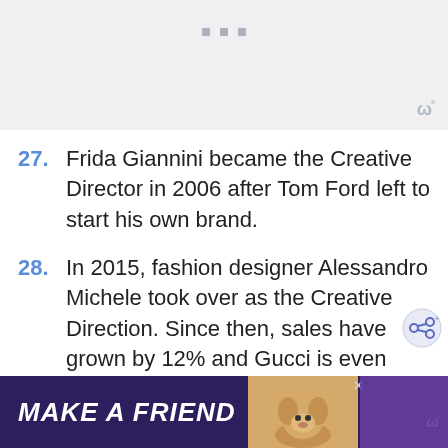[Figure (other): Gray top area with three small square dots and a watermark logo 'W°' in bottom right]
27. Frida Giannini became the Creative Director in 2006 after Tom Ford left to start his own brand.
28. In 2015, fashion designer Alessandro Michele took over as the Creative Direction. Since then, sales have grown by 12% and Gucci is even more prominent at world-class events such
[Figure (other): Share icon button on the right side]
MAKE A FRIEND [advertisement banner with dog image]